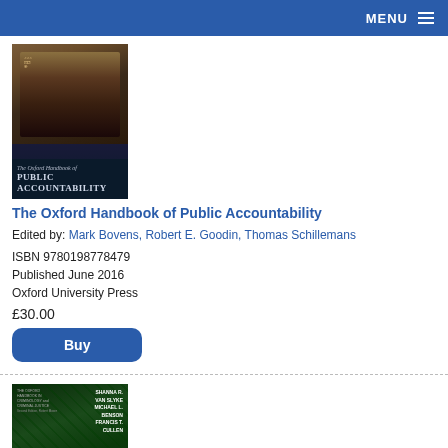MENU
[Figure (photo): Book cover of The Oxford Handbook of Public Accountability with a classical painting image and dark title band]
The Oxford Handbook of Public Accountability
Edited by: Mark Bovens, Robert E. Goodin, Thomas Schillemans
ISBN 9780198778479
Published June 2016
Oxford University Press
£30.00
Buy
[Figure (photo): Book cover of The Oxford Handbook of Criminology and Criminal Justice, green toned cover]